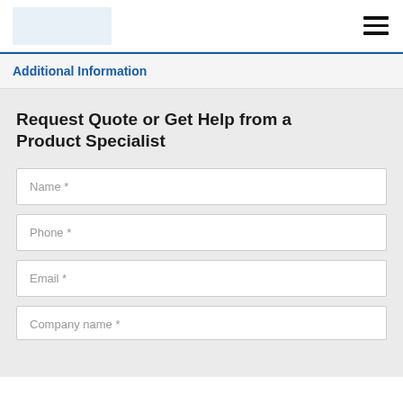[Figure (logo): Company logo placeholder box in light blue]
[Figure (other): Hamburger menu icon with three horizontal lines]
Additional Information
Request Quote or Get Help from a Product Specialist
Name *
Phone *
Email *
Company name *